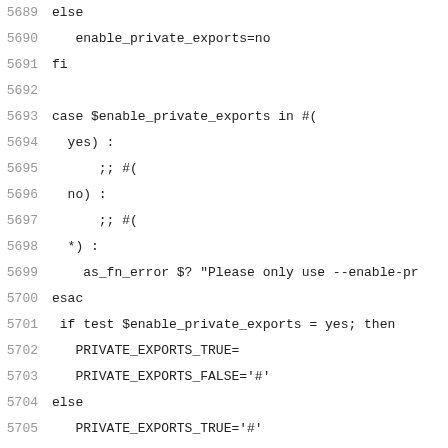5689 else
5690   enable_private_exports=no
5691 fi
5692
5693 case $enable_private_exports in #(
5694   yes) :
5695       ;; #(
5696   no) :
5697       ;; #(
5698   *) :
5699     as_fn_error $? "Please only use --enable-pr
5700 esac
5701  if test $enable_private_exports = yes; then
5702   PRIVATE_EXPORTS_TRUE=
5703   PRIVATE_EXPORTS_FALSE='#'
5704 else
5705   PRIVATE_EXPORTS_TRUE='#'
5706   PRIVATE_EXPORTS_FALSE=
5707 fi
5708
5709 { $as_echo "$as_me:${as_lineno-$LINENO}: result
5710 $as_echo "$enable_private_exports" >&6; }